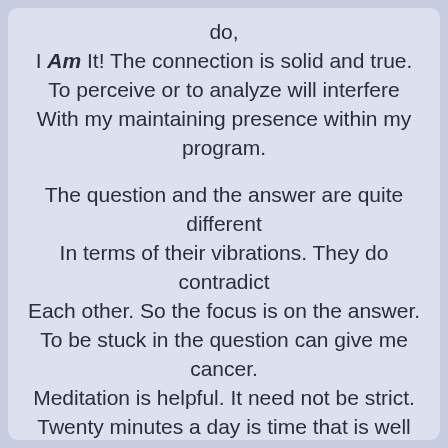do,
I Am It! The connection is solid and true.
To perceive or to analyze will interfere
With my maintaining presence within my program.

The question and the answer are quite different
In terms of their vibrations. They do contradict
Each other. So the focus is on the answer.
To be stuck in the question can give me cancer.
Meditation is helpful. It need not be strict.
Twenty minutes a day is time that is well spent.